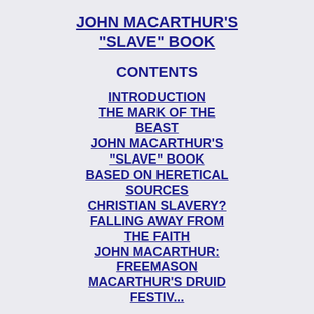JOHN MACARTHUR'S "SLAVE" BOOK
CONTENTS
INTRODUCTION
THE MARK OF THE BEAST
JOHN MACARTHUR'S "SLAVE" BOOK BASED ON HERETICAL SOURCES
CHRISTIAN SLAVERY?
FALLING AWAY FROM THE FAITH
JOHN MACARTHUR: FREEMASON
MACARTHUR'S DRUID FESTIVAL